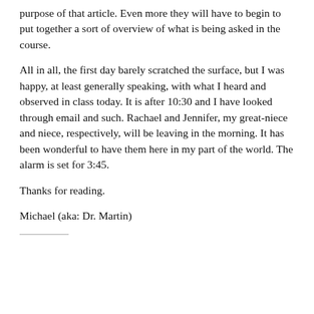purpose of that article. Even more they will have to begin to put together a sort of overview of what is being asked in the course.
All in all, the first day barely scratched the surface, but I was happy, at least generally speaking, with what I heard and observed in class today. It is after 10:30 and I have looked through email and such. Rachael and Jennifer, my great-niece and niece, respectively, will be leaving in the morning. It has been wonderful to have them here in my part of the world. The alarm is set for 3:45.
Thanks for reading.
Michael (aka: Dr. Martin)